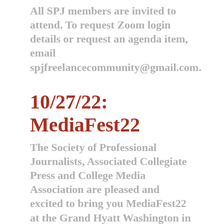All SPJ members are invited to attend. To request Zoom login details or request an agenda item, email spjfreelancecommunity@gmail.com.
10/27/22: MediaFest22
The Society of Professional Journalists, Associated Collegiate Press and College Media Association are pleased and excited to bring you MediaFest22 at the Grand Hyatt Washington in Washington, D.C., Oct. 27-30. MediaFest22 is a unique and inspiring journalism convention experience, bringing together